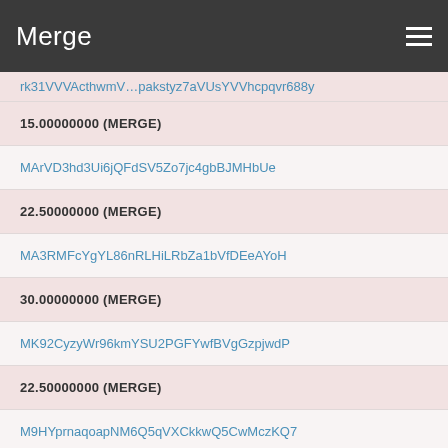Merge
15.00000000 (MERGE)
MArVD3hd3Ui6jQFdSV5Zo7jc4gbBJMHbUe
22.50000000 (MERGE)
MA3RMFcYgYL86nRLHiLRbZa1bVfDEeAYoH
30.00000000 (MERGE)
MK92CyzyWr96kmYSU2PGFYwfBVgGzpjwdP
22.50000000 (MERGE)
M9HYprnaqoapNM6Q5qVXCkkwQ5CwMczKQ7
30.00000000 (MERGE)
MPjL2FytsAAtrL5moj39ZPgKEFsDgBvavD
37.50000000 (MERGE)
MKTWGA5xyimTF8gPEkPHCVBu7LvqeUo7SA
30.00000000 (MERGE)